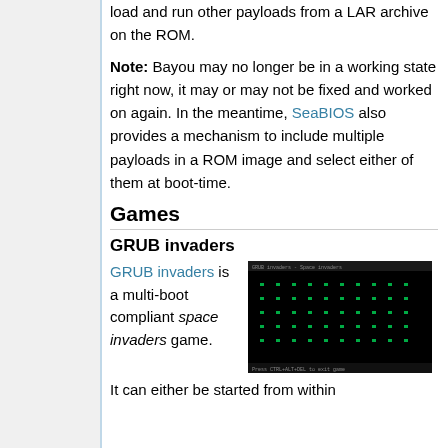load and run other payloads from a LAR archive on the ROM.
Note: Bayou may no longer be in a working state right now, it may or may not be fixed and worked on again. In the meantime, SeaBIOS also provides a mechanism to include multiple payloads in a ROM image and select either of them at boot-time.
Games
GRUB invaders
GRUB invaders is a multi-boot compliant space invaders game.
[Figure (screenshot): Screenshot of GRUB invaders game showing a dark terminal screen with green dot patterns resembling a space invaders game.]
It can either be started from within